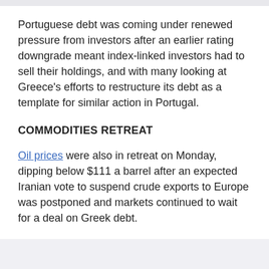Portuguese debt was coming under renewed pressure from investors after an earlier rating downgrade meant index-linked investors had to sell their holdings, and with many looking at Greece's efforts to restructure its debt as a template for similar action in Portugal.
COMMODITIES RETREAT
Oil prices were also in retreat on Monday, dipping below $111 a barrel after an expected Iranian vote to suspend crude exports to Europe was postponed and markets continued to wait for a deal on Greek debt.